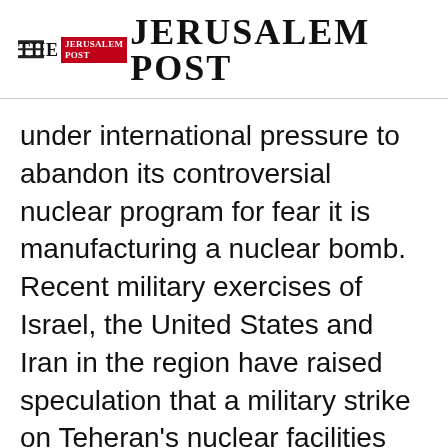THE JERUSALEM POST
under international pressure to abandon its controversial nuclear program for fear it is manufacturing a nuclear bomb. Recent military exercises of Israel, the United States and Iran in the region have raised speculation that a military strike on Teheran's nuclear facilities and an ensuing military standoff could be imminent. Iran has threatened that it could respond to any strike on its soil by shutting down the Strait of Hormuz,
Advertisement